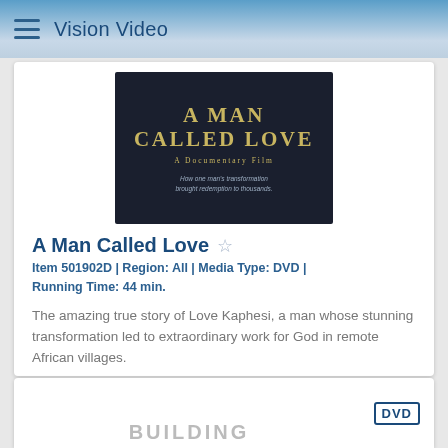Vision Video
[Figure (photo): Movie cover for 'A Man Called Love – A Documentary Film'. Dark background with gold serif text reading 'A MAN CALLED LOVE', subtitle 'A Documentary Film', and tagline 'How one man's transformation brought redemption to thousands.']
A Man Called Love
Item 501902D | Region: All | Media Type: DVD | Running Time: 44 min.
The amazing true story of Love Kaphesi, a man whose stunning transformation led to extraordinary work for God in remote African villages.
$5.00 $14.99 ADD TO CART